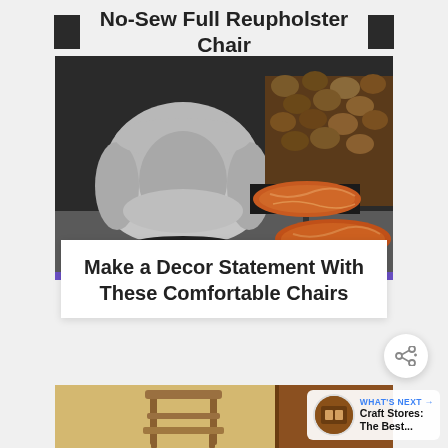No-Sew Full Reupholster Chair
[Figure (photo): Gray upholstered lounge chair with orange marble side tables and stacked firewood in background]
Make a Decor Statement With These Comfortable Chairs
[Figure (photo): Wooden dining chair against yellow/warm background]
WHAT'S NEXT → Craft Stores: The Best...